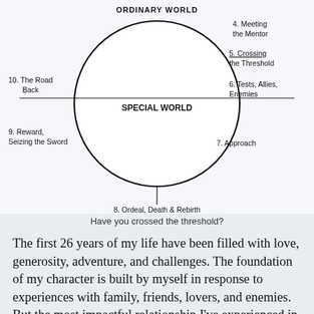[Figure (other): Hero's Journey diagram showing a large circle with 'ORDINARY WORLD' at top and 'SPECIAL WORLD' in the center. Labels around the circle indicate stages: 4. Meeting the Mentor, 5. Crossing the Threshold, 6. Tests Allies Enemies, 7. Approach, 8. Ordeal Death & Rebirth (bottom), 9. Reward Seizing the Sword, 10. The Road Back. A horizontal line crosses the circle and a vertical line descends from the bottom.]
Have you crossed the threshold?
The first 26 years of my life have been filled with love, generosity, adventure, and challenges. The foundation of my character is built by myself in response to experiences with family, friends, lovers, and enemies. But the most impactful relationship I've experienced in 26 years is the partnership I share